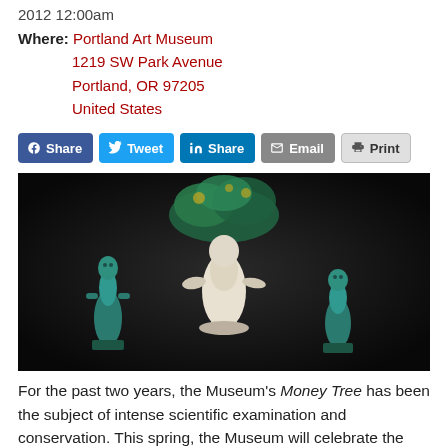2012 12:00am
Where: Portland Art Museum
1219 SW Park Avenue
Portland, OR 97205
United States
[Figure (infographic): Social sharing buttons: Facebook Share, Twitter Tweet, LinkedIn Share, Email, Print]
[Figure (photo): Museum artifacts: three ancient figurines with teal/green patina on dark background, the center one with a branching green top resembling a tree]
For the past two years, the Museum's Money Tree has been the subject of intense scientific examination and conservation. This spring, the Museum will celebrate the